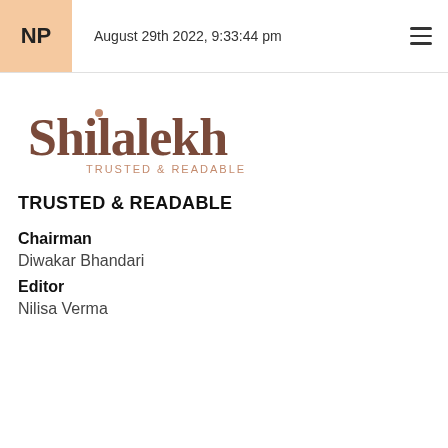NP  August 29th 2022, 9:33:44 pm
[Figure (logo): Shilalekh logo with text 'Shilalekh' in decorative brown serif font and subtitle 'TRUSTED & READABLE' in smaller copper-brown caps]
TRUSTED & READABLE
Chairman
Diwakar Bhandari
Editor
Nilisa Verma